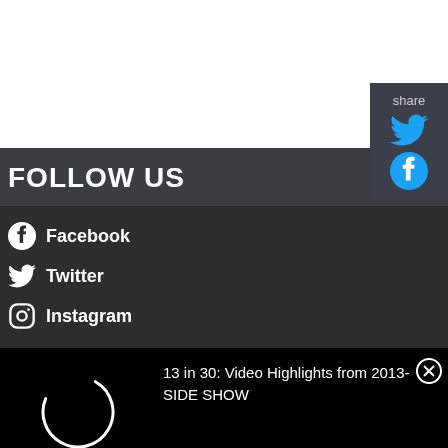[Figure (screenshot): White blank area at top of page]
FOLLOW US
Facebook
Twitter
Instagram
share
[Figure (screenshot): Share panel with Twitter bird icon and Facebook icon on right side]
[Figure (screenshot): Black video area with loading spinner and title: 13 in 30: Video Highlights from 2013- SIDE SHOW]